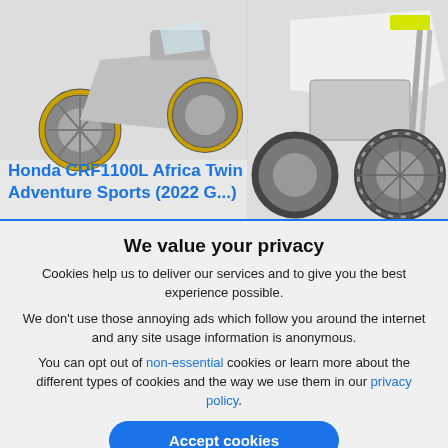[Figure (photo): Two motorcycles side by side. Left: a Honda CRF1100L Africa Twin Adventure Sports with gold wheels visible. Right: a white/grey adventure motorcycle (Husqvarna or similar) showing front fork, wheel, and body.]
Honda CRF1100L Africa Twin Adventure Sports (2022 G...)
We value your privacy
Cookies help us to deliver our services and to give you the best experience possible.
We don't use those annoying ads which follow you around the internet and any site usage information is anonymous.
You can opt out of non-essential cookies or learn more about the different types of cookies and the way we use them in our privacy policy.
Accept cookies